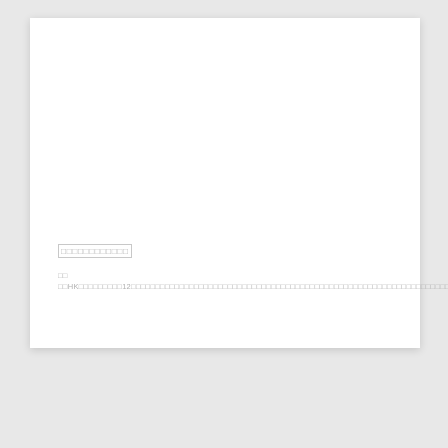□□□□□□□□□□□□
□□ □□HK□□□□□□□□□12□□□□□□□□□□□□□□□□□□□□□□□□□□□□□□□□□□□□□□□□□□□□□□□□□□□□□□□□□□□□□□□□□□□□□□□□□□□□□□□□□□□□□□□□□□□□□□□□□□□□□□□□□□□□□□□□□□□□□□□□□□□□□□□□□□□□□□□□□□□□□□□□□□□□□□□□□□□□□□□□□□□□□□□□□□□□□□□□□□□□□□□□□□□□□□□□□□□□□□□□□□□□□□□□□□□□□□□□□□□□□□□□□□□□□□□□□□□□□□□□□□□□□□□□□□□□□□□□□□□□□□□□□□□□□□□□□□□□□□□□□□□□□□□□...